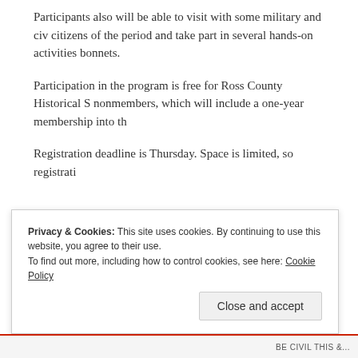Participants also will be able to visit with some military and civil citizens of the period and take part in several hands-on activities bonnets.
Participation in the program is free for Ross County Historical S nonmembers, which will include a one-year membership into th
Registration deadline is Thursday. Space is limited, so registrati
Privacy & Cookies: This site uses cookies. By continuing to use this website, you agree to their use.
To find out more, including how to control cookies, see here: Cookie Policy